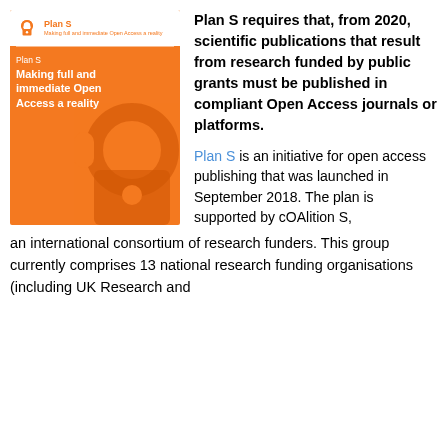[Figure (illustration): Plan S report cover: orange background with open access lock watermark, white header with Plan S logo and title 'Making full and immediate Open Access a reality']
Plan S requires that, from 2020, scientific publications that result from research funded by public grants must be published in compliant Open Access journals or platforms.
Plan S is an initiative for open access publishing that was launched in September 2018. The plan is supported by cOAlition S, an international consortium of research funders. This group currently comprises 13 national research funding organisations (including UK Research and